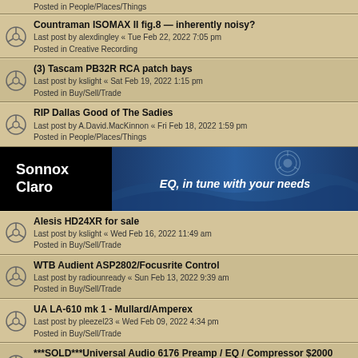Posted in People/Places/Things
Countraman ISOMAX II fig.8 — inherently noisy?
Last post by alexdingley « Tue Feb 22, 2022 7:05 pm
Posted in Creative Recording
(3) Tascam PB32R RCA patch bays
Last post by kslight « Sat Feb 19, 2022 1:15 pm
Posted in Buy/Sell/Trade
RIP Dallas Good of The Sadies
Last post by A.David.MacKinnon « Fri Feb 18, 2022 1:59 pm
Posted in People/Places/Things
[Figure (illustration): Sonnox Claro advertisement banner: 'EQ, in tune with your needs']
Alesis HD24XR for sale
Last post by kslight « Wed Feb 16, 2022 11:49 am
Posted in Buy/Sell/Trade
WTB Audient ASP2802/Focusrite Control
Last post by radiounready « Sun Feb 13, 2022 9:39 am
Posted in Buy/Sell/Trade
UA LA-610 mk 1 - Mullard/Amperex
Last post by pleezel23 « Wed Feb 09, 2022 4:34 pm
Posted in Buy/Sell/Trade
***SOLD***Universal Audio 6176 Preamp / EQ / Compressor $2000
Last post by the missing boy « Wed Jan 26, 2022 8:48 am
Posted in Buy/Sell/Trade
AEA RPQ Mic Preamp EQ
Last post by fnps90 « Tue Jan 18, 2022 2:38 pm